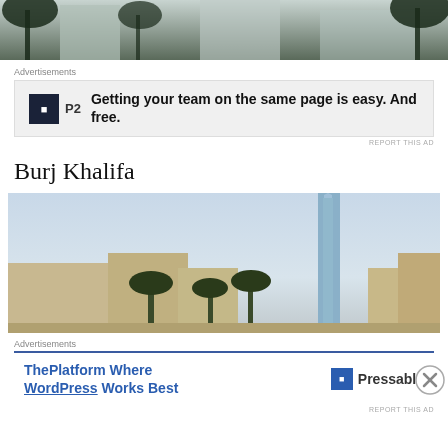[Figure (photo): Top of page photo showing palm trees and glass buildings with dark sky]
Advertisements
[Figure (infographic): P2 advertisement: Getting your team on the same page is easy. And free.]
Burj Khalifa
[Figure (photo): Burj Khalifa tower rising above low-rise buildings in Dubai with palm trees and hazy sky]
Advertisements
[Figure (infographic): Pressable advertisement: ThePlatform Where WordPress Works Best]